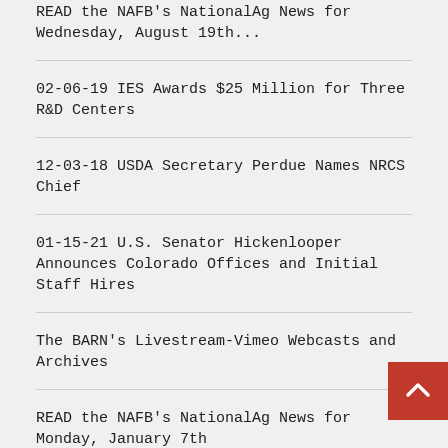READ the NAFB's NationalAg News for Wednesday, August 19th...
02-06-19 IES Awards $25 Million for Three R&D Centers
12-03-18 USDA Secretary Perdue Names NRCS Chief
01-15-21 U.S. Senator Hickenlooper Announces Colorado Offices and Initial Staff Hires
The BARN's Livestream-Vimeo Webcasts and Archives
READ the NAFB's NationalAg News for Monday, January 7th
READ the NAFB's NationalAg News for